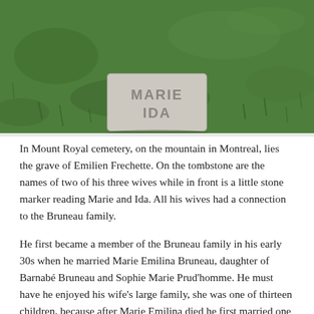[Figure (photo): A photograph of a small flat stone grave marker on green grass reading 'MARIE IDA']
In Mount Royal cemetery, on the mountain in Montreal, lies the grave of Emilien Frechette. On the tombstone are the names of two of his three wives while in front is a little stone marker reading Marie and Ida. All his wives had a connection to the Bruneau family.
He first became a member of the Bruneau family in his early 30s when he married Marie Emilina Bruneau, daughter of Barnabé Bruneau and Sophie Marie Prud'homme. He must have he enjoyed his wife's large family, she was one of thirteen children, because after Marie Emilina died he first married one and then a second of her sisters-in-law.
Emilien was born to Emilien Frechette and Philomine Laguë